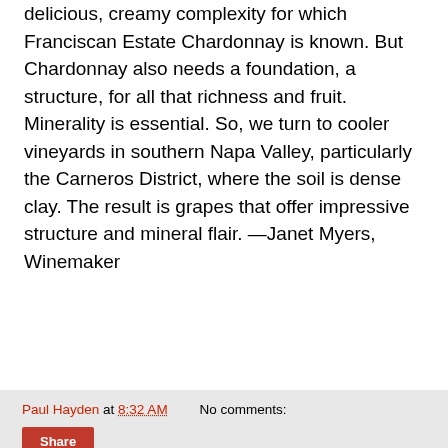delicious, creamy complexity for which Franciscan Estate Chardonnay is known. But Chardonnay also needs a foundation, a structure, for all that richness and fruit. Minerality is essential. So, we turn to cooler vineyards in southern Napa Valley, particularly the Carneros District, where the soil is dense clay. The result is grapes that offer impressive structure and mineral flair. —Janet Myers, Winemaker
Paul Hayden at 8:32 AM   No comments:
Share
Returning Lagunitas seasonals
[Figure (photo): A dark brown beer bottle with a gold cap, shown from the neck up, on a white background inside a bordered rectangle.]